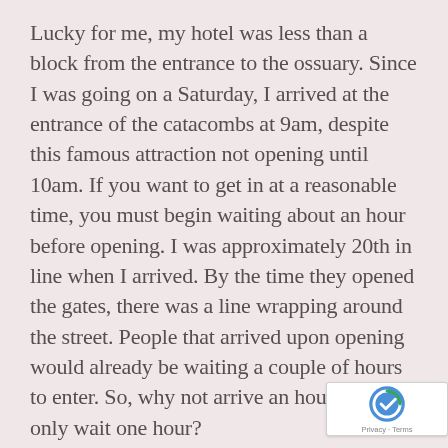Lucky for me, my hotel was less than a block from the entrance to the ossuary. Since I was going on a Saturday, I arrived at the entrance of the catacombs at 9am, despite this famous attraction not opening until 10am. If you want to get in at a reasonable time, you must begin waiting about an hour before opening. I was approximately 20th in line when I arrived. By the time they opened the gates, there was a line wrapping around the street. People that arrived upon opening would already be waiting a couple of hours to enter. So, why not arrive an hour early and only wait one hour?

As we crossed through the gates to pay for admission, I had no idea the extent of history that we were about to discover. Upon entering the catacombs, you find yourself going down a very
[Figure (logo): reCAPTCHA badge with logo and Privacy - Terms links]